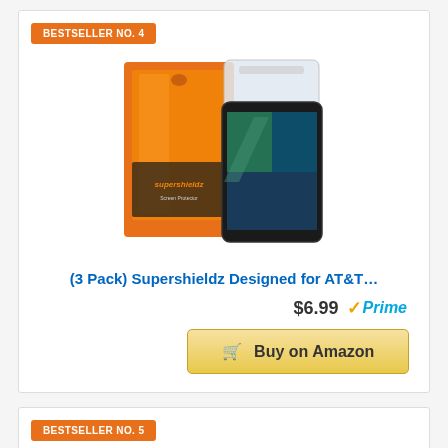BESTSELLER NO. 4
[Figure (photo): Supershieldz screen protector product photo showing orange packaging and tablet device]
(3 Pack) Supershieldz Designed for AT&T...
$6.99 ✓Prime
🛒 Buy on Amazon
BESTSELLER NO. 5
[Figure (photo): Phone case product photo showing dark grey/black protective case]